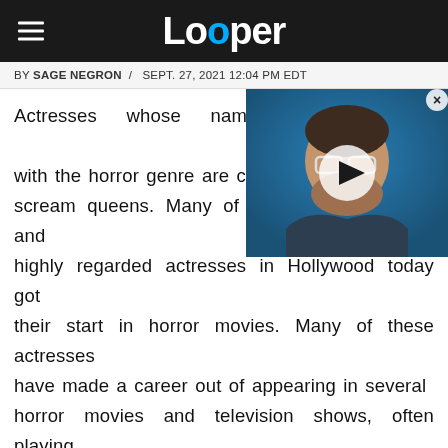Looper
BY SAGE NEGRON / SEPT. 27, 2021 12:04 PM EDT
[Figure (photo): Video thumbnail showing a man with glasses against a blue background, with a play button overlay]
Actresses whose names have become synonymous with the horror genre are commonly called scream queens. Many of the most well-known and highly regarded actresses in Hollywood today got their start in horror movies. Many of these actresses have made a career out of appearing in several horror movies and television shows, often playing some of the genre's most iconic characters. Horror movies have evolved over the years, and so has the nature of the scream queen. Their characters may be the "final girl" in a slasher film, the main